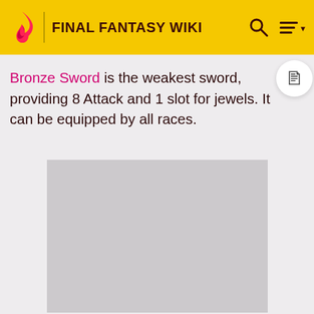FINAL FANTASY WIKI
Bronze Sword is the weakest sword, providing 8 Attack and 1 slot for jewels. It can be equipped by all races.
[Figure (photo): Gray placeholder image rectangle below the introductory text]